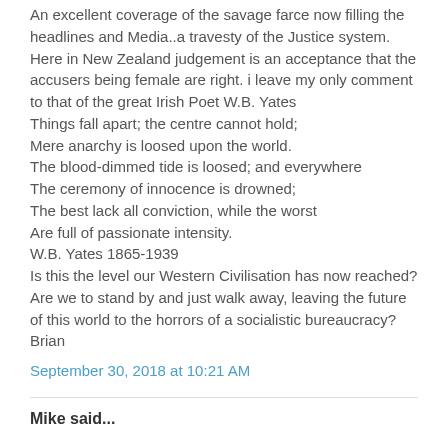An excellent coverage of the savage farce now filling the headlines and Media..a travesty of the Justice system. Here in New Zealand judgement is an acceptance that the accusers being female are right. i leave my only comment to that of the great Irish Poet W.B. Yates
Things fall apart; the centre cannot hold;
Mere anarchy is loosed upon the world.
The blood-dimmed tide is loosed; and everywhere
The ceremony of innocence is drowned;
The best lack all conviction, while the worst
Are full of passionate intensity.
W.B. Yates 1865-1939
Is this the level our Western Civilisation has now reached? Are we to stand by and just walk away, leaving the future of this world to the horrors of a socialistic bureaucracy?
Brian
September 30, 2018 at 10:21 AM
Mike said...